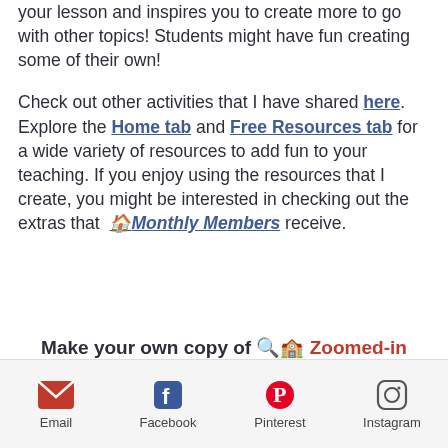your lesson and inspires you to create more to go with other topics! Students might have fun creating some of their own!
Check out other activities that I have shared here. Explore the Home tab and Free Resources tab for a wide variety of resources to add fun to your teaching. If you enjoy using the resources that I create, you might be interested in checking out the extras that 🏠 Monthly Members receive.
Make your own copy of 🔍🏫 Zoomed-in Picture School Edition to use
Email | Facebook | Pinterest | Instagram